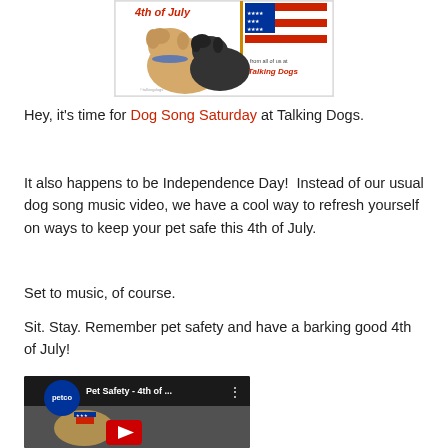[Figure (photo): 4th of July image with two dogs and an American flag, text 'from all of us at Talking Dogs' in red]
Hey, it's time for Dog Song Saturday at Talking Dogs.
It also happens to be Independence Day!  Instead of our usual dog song music video, we have a cool way to refresh yourself on ways to keep your pet safe this 4th of July.
Set to music, of course.
Sit. Stay. Remember pet safety and have a barking good 4th of July!
[Figure (screenshot): YouTube video thumbnail showing Petco Pet Safety - 4th of July video with a small dog wearing a patriotic hat]